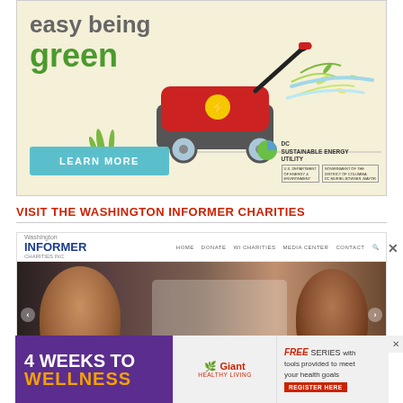[Figure (illustration): Advertisement for DC Sustainable Energy Utility showing a red electric lawn mower cutting grass on a yellow-green background. Text reads 'easy being green' with a LEARN MORE button. DC logos and government seals at bottom right.]
VISIT THE WASHINGTON INFORMER CHARITIES
[Figure (screenshot): Screenshot of the Washington Informer Charities website showing the site header with logo, navigation links (HOME, DONATE, WI CHARITIES, MEDIA CENTER, CONTACT), and a hero image of children in a science class wearing safety glasses.]
[Figure (illustration): Bottom advertisement banner: '4 WEEKS TO WELLNESS' in purple background on left, Giant Healthy Living logo in center on gray background, 'FREE SERIES with tools provided to meet your health goals' and 'REGISTER HERE' button on right.]